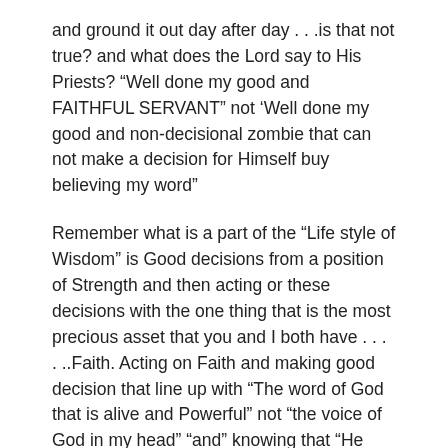and ground it out day after day . . .is that not true? and what does the Lord say to His Priests? “Well done my good and FAITHFUL SERVANT” not ‘Well done my good and non-decisional zombie that can not make a decision for Himself buy believing my word”
Remember what is a part of the “Life style of Wisdom” is Good decisions from a position of Strength and then acting or these decisions with the one thing that is the most precious asset that you and I both have . . . . ..Faith. Acting on Faith and making good decision that line up with “The word of God that is alive and Powerful” not “the voice of God in my head” “and” knowing that “He Himself has said and will not change His mind: I will never leave you, most certainly not, I will never forsake you, therefore you may boldly say the Lord IS MY HELPER . . . .
I love you Family Member and this simply is the case, and furthermore, there is a principle in life that will forever keep a